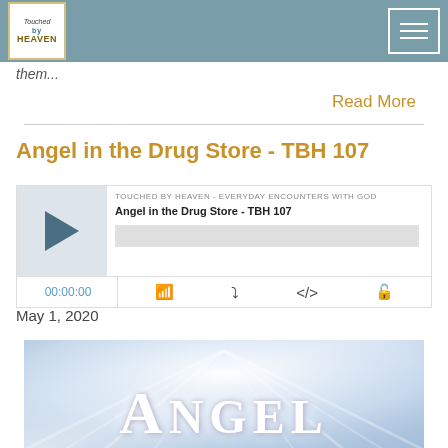Touched by Heaven - Navigation header
them...
Read More
Angel in the Drug Store - TBH 107
[Figure (screenshot): Podcast audio player widget showing episode 'Angel in the Drug Store - TBH 107' from Touched by Heaven - Everyday Encounters with God, with play button, progress bar, timestamp 00:00:00, and control icons]
May 1, 2020
[Figure (photo): Decorative image with heavenly light rays on a blue sky background with the word ANGEL in large white serif letters]